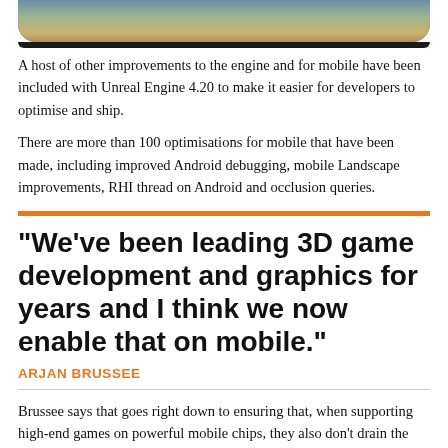[Figure (photo): Bottom portion of a smartphone showing a colorful game or app screenshot, with the device border visible at bottom]
A host of other improvements to the engine and for mobile have been included with Unreal Engine 4.20 to make it easier for developers to optimise and ship.
There are more than 100 optimisations for mobile that have been made, including improved Android debugging, mobile Landscape improvements, RHI thread on Android and occlusion queries.
"We've been leading 3D game development and graphics for years and I think we now enable that on mobile."
ARJAN BRUSSEE
Brussee says that goes right down to ensuring that, when supporting high-end games on powerful mobile chips, they also don't drain the battery or overheat the device.
"Everything we could optimise out of there, we did," says Brussee.